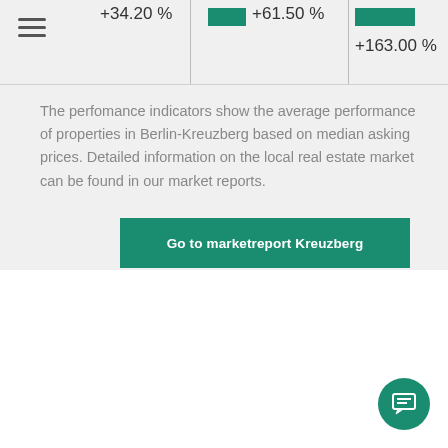+34.20 %
+61.50 %
+163.00 %
The perfomance indicators show the average performance of properties in Berlin-Kreuzberg based on median asking prices. Detailed information on the local real estate market can be found in our market reports.
Go to marketreport Kreuzberg
Basic informationen
Project